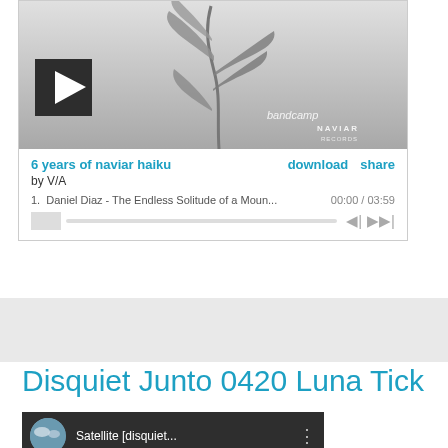[Figure (screenshot): Bandcamp embedded music player showing album art (black and white plant/leaf photo) with play button, Bandcamp and Naviar Records logos. Player shows track '6 years of naviar haiku' by V/A with download and share links, track listing: '1. Daniel Diaz - The Endless Solitude of a Moun... 00:00 / 03:59', progress bar and controls.]
[Figure (screenshot): Gray banner/advertisement section below the Bandcamp player.]
Disquiet Junto 0420 Luna Tick
[Figure (screenshot): YouTube video thumbnail showing 'Satellite [disquiet...' with a circular avatar image of clouds and a vertical dots menu icon on dark background.]